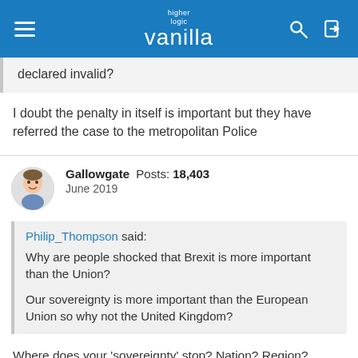[Figure (screenshot): Higher Logic Vanilla forum website header with navigation bar in blue]
declared invalid?
I doubt the penalty in itself is important but they have referred the case to the metropolitan Police
Gallowgate Posts: 18,403
June 2019
Philip_Thompson said:
Why are people shocked that Brexit is more important than the Union?

Our sovereignty is more important than the European Union so why not the United Kingdom?
Where does your 'sovereignty' stop? Nation? Region?